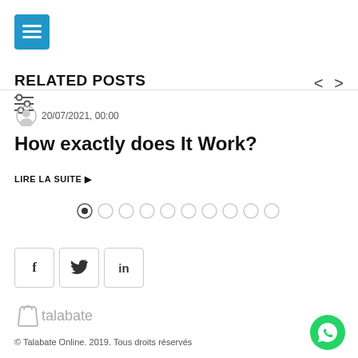[Figure (screenshot): Blue hamburger menu button in top-left corner]
RELATED POSTS
[Figure (other): Filter/sliders icon on left side]
20/07/2021, 00:00
How exactly does It Work?
LIRE LA SUITE ▶
[Figure (other): Pagination dots - 10 circles, first one filled/active]
[Figure (other): Social share buttons: f (Facebook), bird (Twitter), in (LinkedIn)]
[Figure (logo): Talabate logo - shopping bag icon with text 'talabate']
© Talabate Online. 2019. Tous droits réservés